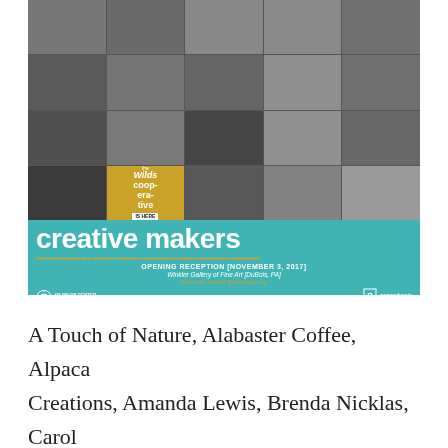[Figure (illustration): A promotional poster for 'Creative Makers' exhibit by The Wilds Cooperative. The poster features a collage of black-and-white photos showing artisans at work in their creative spaces, arranged in a grid. A teal banner at the bottom reads 'creative makers' in large white letters with subtitle 'showcasing pa wilds makers at work in their creative spaces'. It announces an opening reception on November 3, 2017 at Winkler Gallery of Fine Art in DuBois, PA. Logos for PA Wilds Center and Pennsylvania Council on the Arts appear at the bottom.]
A Touch of Nature, Alabaster Coffee, Alpaca Creations, Amanda Lewis, Brenda Nicklas, Carol